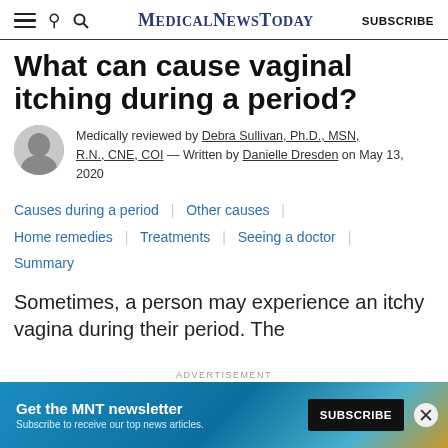MedicalNewsToday | SUBSCRIBE
What can cause vaginal itching during a period?
Medically reviewed by Debra Sullivan, Ph.D., MSN, R.N., CNE, COI — Written by Danielle Dresden on May 13, 2020
Causes during a period
Other causes
Home remedies
Treatments
Seeing a doctor
Summary
Sometimes, a person may experience an itchy vagina during their period. The
[Figure (infographic): Advertisement banner: Get the MNT newsletter. Subscribe to receive our top news articles. SUBSCRIBE button.]